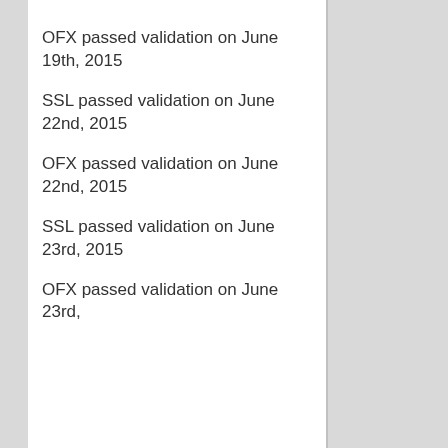OFX passed validation on June 19th, 2015
SSL passed validation on June 22nd, 2015
OFX passed validation on June 22nd, 2015
SSL passed validation on June 23rd, 2015
OFX passed validation on June 23rd,